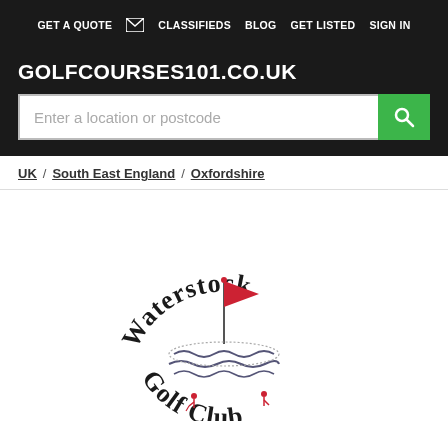GET A QUOTE | CLASSIFIEDS | BLOG | GET LISTED | SIGN IN
GOLFCOURSES101.CO.UK
Enter a location or postcode
UK / South East England / Oxfordshire
[Figure (logo): Waterstock Golf Club circular logo with red flag and water waves illustration]